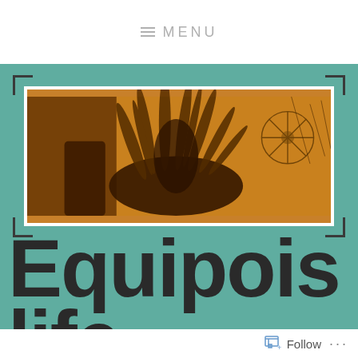≡ MENU
[Figure (photo): Photograph of decorative feathered headdress or plant with feather-like fronds against a warm orange/amber background, with shadows of wheel-like structures visible on the right side. Image has white border and dark corner bracket decorations on teal background.]
Equipoise life
Follow ...